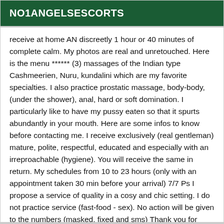NO1ANGELSESCORTS
receive at home AN discreetly 1 hour or 40 minutes of complete calm. My photos are real and unretouched. Here is the menu ****** (3) massages of the Indian type Cashmeerien, Nuru, kundalini which are my favorite specialties. I also practice prostatic massage, body-body, (under the shower), anal, hard or soft domination. I particularly like to have my pussy eaten so that it spurts abundantly in your mouth. Here are some infos to know before contacting me. I receive exclusively (real gentleman) mature, polite, respectful, educated and especially with an irreproachable (hygiene). You will receive the same in return. My schedules from 10 to 23 hours (only with an appointment taken 30 min before your arrival) 7/7 Ps I propose a service of quality in a cosy and chic setting. I do not practice service (fast-food - sex). No action will be given to the numbers (masked, fixed and sms) Thank you for understanding.